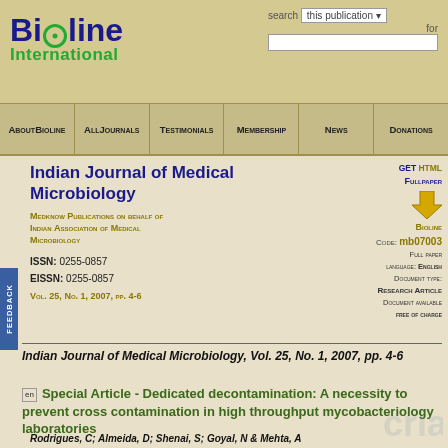Bioline International — search this publication for
About Bioline | All Journals | Testimonials | Membership | News | Donations
Indian Journal of Medical Microbiology
Medknow Publications on behalf of Indian Association of Medical Microbiology
ISSN: 0255-0857
EISSN: 0255-0857
Vol. 25, No. 1, 2007, pp. 4-6
GET HTML FULLPAPER
Bioline Code: mb07003
Full paper
Language: English
Document type: Research Article
Document available free of charge
Indian Journal of Medical Microbiology, Vol. 25, No. 1, 2007, pp. 4-6
Special Article - Dedicated decontamination: A necessity to prevent cross contamination in high throughput mycobacteriology laboratories
Rodrigues, C; Almeida, D; Shenai, S; Goyal, N & Mehta, A